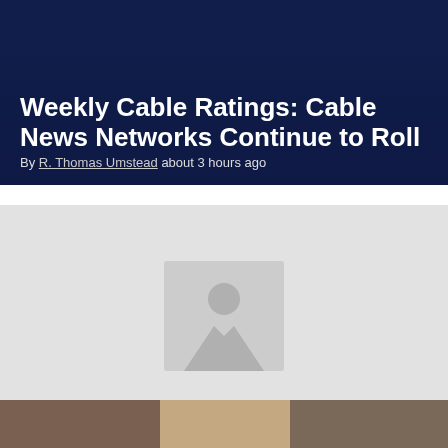Weekly Cable Ratings: Cable News Networks Continue to Roll
By R. Thomas Umstead about 3 hours ago
[Figure (photo): Placeholder image with generic image icon on light gray background]
NBC Offers ‘Law & Order’ Mega-Crossover September 22
By Michael Malone about 3 hours ago
[Figure (photo): Partial photo of a person, cropped at top of third card]